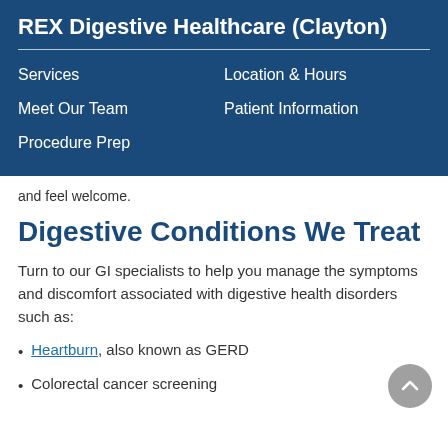REX Digestive Healthcare (Clayton)
Services
Location & Hours
Meet Our Team
Patient Information
Procedure Prep
and feel welcome.
Digestive Conditions We Treat
Turn to our GI specialists to help you manage the symptoms and discomfort associated with digestive health disorders such as:
Heartburn, also known as GERD
Colorectal cancer screening